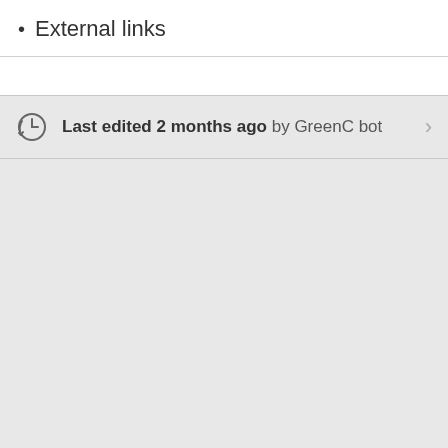External links
Last edited 2 months ago by GreenC bot